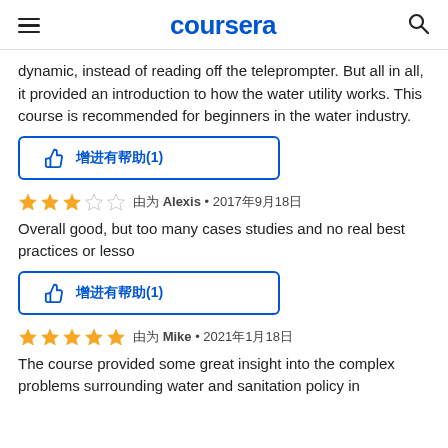coursera
dynamic, instead of reading off the teleprompter. But all in all, it provided an introduction to how the water utility works. This course is recommended for beginners in the water industry.
👍 点赞有帮助(1)
★★★☆☆ 由 Alexis • 2017年9月18日
Overall good, but too many cases studies and no real best practices or lesso
👍 点赞有帮助(1)
★★★★★ 由 Mike • 2021年1月18日
The course provided some great insight into the complex problems surrounding water and sanitation policy in